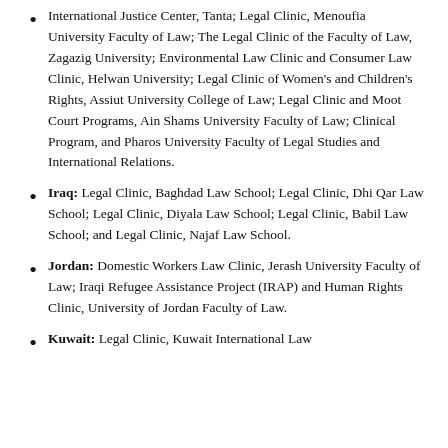International Justice Center, Tanta; Legal Clinic, Menoufia University Faculty of Law; The Legal Clinic of the Faculty of Law, Zagazig University; Environmental Law Clinic and Consumer Law Clinic, Helwan University; Legal Clinic of Women's and Children's Rights, Assiut University College of Law; Legal Clinic and Moot Court Programs, Ain Shams University Faculty of Law; Clinical Program, and Pharos University Faculty of Legal Studies and International Relations.
Iraq: Legal Clinic, Baghdad Law School; Legal Clinic, Dhi Qar Law School; Legal Clinic, Diyala Law School; Legal Clinic, Babil Law School; and Legal Clinic, Najaf Law School.
Jordan: Domestic Workers Law Clinic, Jerash University Faculty of Law; Iraqi Refugee Assistance Project (IRAP) and Human Rights Clinic, University of Jordan Faculty of Law.
Kuwait: Legal Clinic, Kuwait International Law...